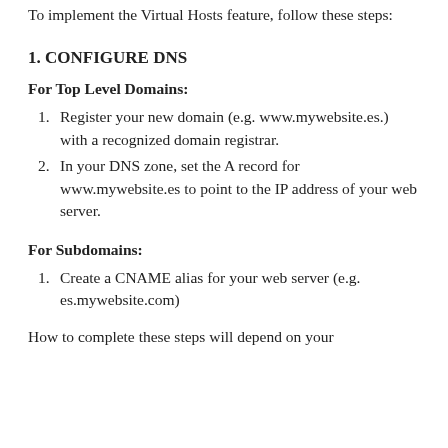To implement the Virtual Hosts feature, follow these steps:
1. CONFIGURE DNS
For Top Level Domains:
Register your new domain (e.g. www.mywebsite.es.) with a recognized domain registrar.
In your DNS zone, set the A record for www.mywebsite.es to point to the IP address of your web server.
For Subdomains:
Create a CNAME alias for your web server (e.g. es.mywebsite.com)
How to complete these steps will depend on your